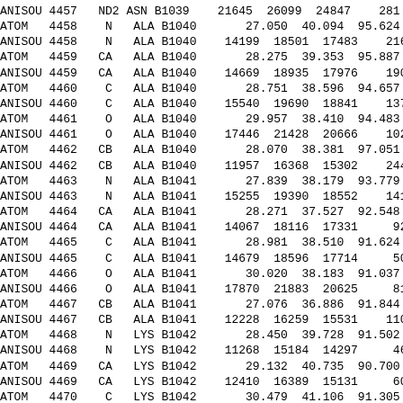ANISOU 4457   ND2 ASN B1039    21645  26099  24847    281
ATOM   4458    N   ALA B1040       27.050  40.094  95.624  1
ANISOU 4458    N   ALA B1040    14199  18501  17483    216
ATOM   4459   CA   ALA B1040       28.275  39.353  95.887  1
ANISOU 4459   CA   ALA B1040    14669  18935  17976    190
ATOM   4460    C   ALA B1040       28.751  38.596  94.657  1
ANISOU 4460    C   ALA B1040    15540  19690  18841    137
ATOM   4461    O   ALA B1040       29.957  38.410  94.483  1
ANISOU 4461    O   ALA B1040    17446  21428  20666    102
ATOM   4462   CB   ALA B1040       28.070  38.381  97.051  1
ANISOU 4462   CB   ALA B1040    11957  16368  15302    244
ATOM   4463    N   ALA B1041       27.839  38.179  93.779  1
ANISOU 4463    N   ALA B1041    15255  19390  18552    141
ATOM   4464   CA   ALA B1041       28.271  37.527  92.548  1
ANISOU 4464   CA   ALA B1041    14067  18116  17331     92
ATOM   4465    C   ALA B1041       28.981  38.510  91.624  1
ANISOU 4465    C   ALA B1041    14679  18596  17714     50
ATOM   4466    O   ALA B1041       30.020  38.183  91.037  1
ANISOU 4466    O   ALA B1041    17870  21883  20625     81
ATOM   4467   CB   ALA B1041       27.076  36.886  91.844  1
ANISOU 4467   CB   ALA B1041    12228  16259  15531    110
ATOM   4468    N   LYS B1042       28.450  39.728  91.502  1
ANISOU 4468    N   LYS B1042    11268  15184  14297     46
ATOM   4469   CA   LYS B1042       29.132  40.735  90.700  1
ANISOU 4469   CA   LYS B1042    12410  16389  15131     60
ATOM   4470    C   LYS B1042       30.479  41.106  91.305  1
ANISOU 4470    C   LYS B1042    15136  19275  17614    290
ATOM   4471    O   LYS B1042       31.442  41.336  90.566  1
ANISOU 4471    O   LYS B1042    17931  21688  20446    387
ATOM   4472   CB   LYS B1042       28.253  41.978  90.544